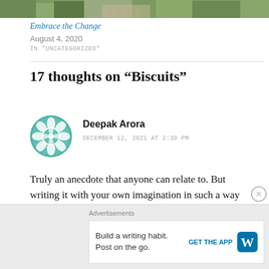[Figure (photo): Top partial image showing trees and a building facade in green tones]
Embrace the Change
August 4, 2020
IN "UNCATEGORIZED"
17 thoughts on “Biscuits”
[Figure (illustration): Teal/green geometric avatar icon with flower/star pattern]
Deepak Arora
DECEMBER 12, 2021 AT 2:30 PM
Truly an anecdote that anyone can relate to. But writing it with your own imagination in such a way that the reader all of a sudden say, 'I wanna more', is
Advertisements
Build a writing habit. Post on the go.
GET THE APP